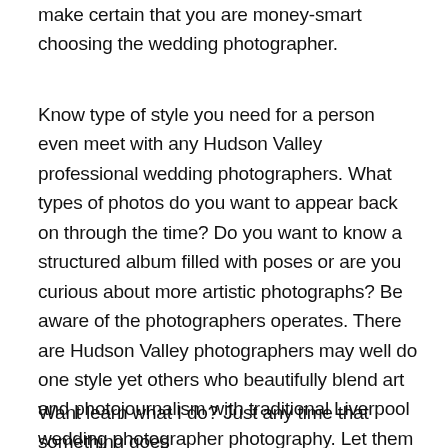make certain that you are money-smart choosing the wedding photographer.
Know type of style you need for a person even meet with any Hudson Valley professional wedding photographers. What types of photos do you want to appear back on through the time? Do you want to know a structured album filled with poses or are you curious about more artistic photographs? Be aware of the photographers operates. There are Hudson Valley photographers may well do one style yet others who beautifully blend art and photojournalism with traditional Liverpool wedding photographer photography. Let them know what percentage of each style you be sure.
Want learn what I do? Just any time that something goes